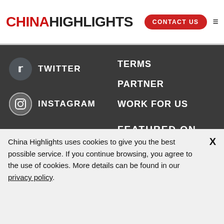CHINAHIGHLIGHTS | CONTACT US
TWITTER
INSTAGRAM
TERMS
PARTNER
WORK FOR US
FEATURED ON
[Figure (logo): CNN Travel logo - white text on dark background]
[Figure (logo): BBC Travel logo - white boxes with black text]
[Figure (logo): USA TODAY logo - white circle with text]
China Highlights uses cookies to give you the best possible service. If you continue browsing, you agree to the use of cookies. More details can be found in our privacy policy.